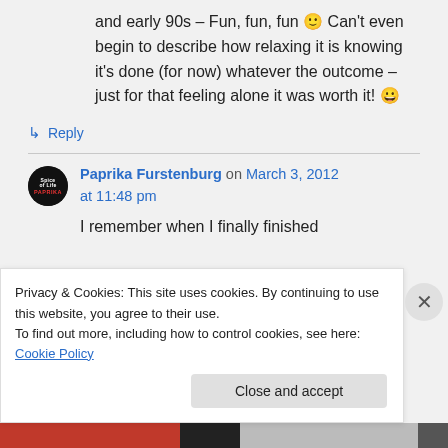and early 90s – Fun, fun, fun 🙂 Can't even begin to describe how relaxing it is knowing it's done (for now) whatever the outcome – just for that feeling alone it was worth it! 😀
↳ Reply
Paprika Furstenburg on March 3, 2012 at 11:48 pm
I remember when I finally finished
Privacy & Cookies: This site uses cookies. By continuing to use this website, you agree to their use.
To find out more, including how to control cookies, see here: Cookie Policy